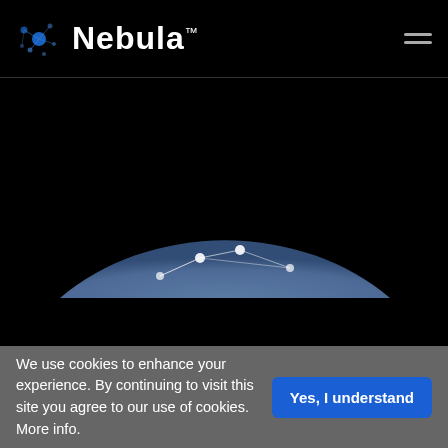Nebula™
cost makes adoption that much easier.
[Figure (illustration): Blue semicircle/dome shape on black background with a network graph overlay showing white nodes connected by lines, representing the Nebula network visualization.]
We use cookies to enhance your experience. By continuing to visit this site you agree to our use of cookies. More info.